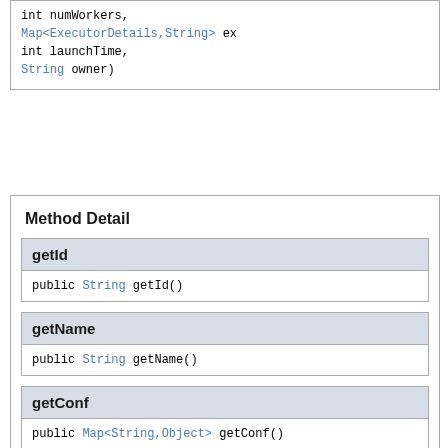int numWorkers,
Map<ExecutorDetails,String> ex
int launchTime,
String owner)
Method Detail
getId
public String getId()
getName
public String getName()
getConf
public Map<String,Object> getConf()
getNumWorkers
public int getNumWorkers()